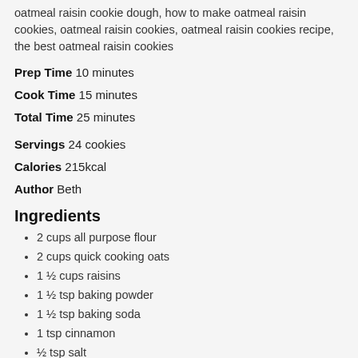oatmeal raisin cookie dough, how to make oatmeal raisin cookies, oatmeal raisin cookies, oatmeal raisin cookies recipe, the best oatmeal raisin cookies
Prep Time 10 minutes
Cook Time 15 minutes
Total Time 25 minutes
Servings 24 cookies
Calories 215kcal
Author Beth
Ingredients
2 cups all purpose flour
2 cups quick cooking oats
1 ½ cups raisins
1 ½ tsp baking powder
1 ½ tsp baking soda
1 tsp cinnamon
½ tsp salt
2 sticks unsalted butter, room temperature 1 cup
1 cup brown sugar